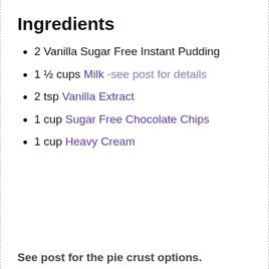Ingredients
2 Vanilla Sugar Free Instant Pudding
1 ½ cups Milk -see post for details
2 tsp Vanilla Extract
1 cup Sugar Free Chocolate Chips
1 cup Heavy Cream
See post for the pie crust options.